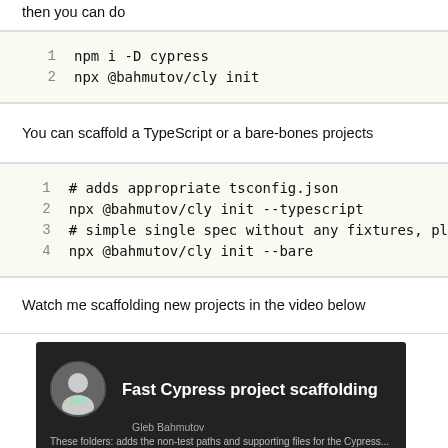then you can do
1  npm i -D cypress
2  npx @bahmutov/cly init
You can scaffold a TypeScript or a bare-bones projects
1  # adds appropriate tsconfig.json
2  npx @bahmutov/cly init --typescript
3  # simple single spec without any fixtures, pl
4  npx @bahmutov/cly init --bare
Watch me scaffolding new projects in the video below
[Figure (screenshot): Video thumbnail showing 'Fast Cypress project scaffolding' with a person's avatar and subtitle text]